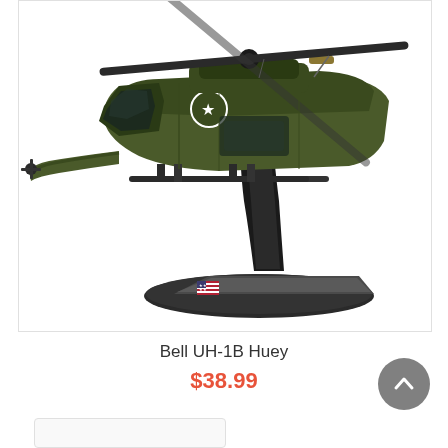[Figure (photo): A Bell UH-1B Huey military helicopter scale model in olive green/army color with U.S. Army markings and star insignia, mounted on a black display stand with an oval base featuring an American flag decal, photographed against a white background.]
Bell UH-1B Huey
$38.99